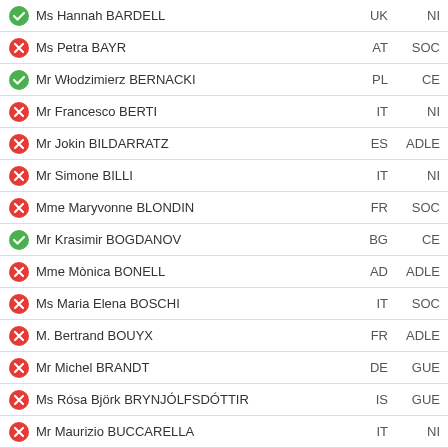Ms Hannah BARDELL | UK | NI | check
Ms Petra BAYR | AT | SOC | cross
Mr Włodzimierz BERNACKI | PL | CE | check
Mr Francesco BERTI | IT | NI | cross
Mr Jokin BILDARRATZ | ES | ADLE | cross
Mr Simone BILLI | IT | NI | cross
Mme Maryvonne BLONDIN | FR | SOC | cross
Mr Krasimir BOGDANOV | BG | CE | check
Mme Mònica BONELL | AD | ADLE | cross
Ms Maria Elena BOSCHI | IT | SOC | cross
M. Bertrand BOUYX | FR | ADLE | cross
Mr Michel BRANDT | DE | GUE | cross
Ms Rósa Björk BRYNJÓLFSDÓTTIR | IS | GUE | cross
Mr Maurizio BUCCARELLA | IT | NI | cross
Mr Ervin BUSHATI | AL | SOC | circle
Ms Klotilda BUSHKA | AL | SOC | check
Mr Algirdas BUTKEVIČIUS | LT | SOC | check